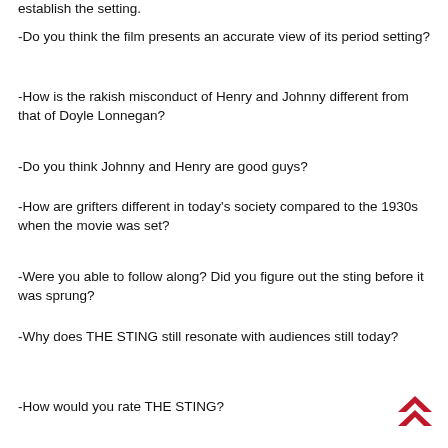establish the setting.
-Do you think the film presents an accurate view of its period setting?
-How is the rakish misconduct of Henry and Johnny different from that of Doyle Lonnegan?
-Do you think Johnny and Henry are good guys?
-How are grifters different in today's society compared to the 1930s when the movie was set?
-Were you able to follow along? Did you figure out the sting before it was sprung?
-Why does THE STING still resonate with audiences still today?
-How would you rate THE STING?
[Figure (illustration): Red upward double-chevron arrow icon in bottom right corner]